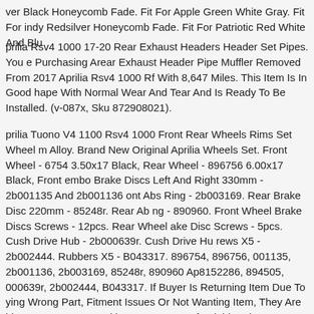ver Black Honeycomb Fade. Fit For Apple Green White Gray. Fit For indy Redsilver Honeycomb Fade. Fit For Patriotic Red White And Blu
prilia Rsv4 1000 17-20 Rear Exhaust Headers Header Set Pipes. You e Purchasing Arear Exhaust Header Pipe Muffler Removed From 2017 Aprilia Rsv4 1000 Rf With 8,647 Miles. This Item Is In Good hape With Normal Wear And Tear And Is Ready To Be Installed. (v-087x, Sku 872908021).
prilia Tuono V4 1100 Rsv4 1000 Front Rear Wheels Rims Set Wheel m Alloy. Brand New Original Aprilia Wheels Set. Front Wheel - 6754 3.50x17 Black, Rear Wheel - 896756 6.00x17 Black, Front embo Brake Discs Left And Right 330mm - 2b001135 And 2b001136 ont Abs Ring - 2b003169. Rear Brake Disc 220mm - 85248r. Rear Ab ng - 890960. Front Wheel Brake Discs Screws - 12pcs. Rear Wheel ake Disc Screws - 5pcs. Cush Drive Hub - 2b000639r. Cush Drive Hu rews X5 - 2b002444. Rubbers X5 - B043317. 896754, 896756, 001135, 2b001136, 2b003169, 85248r, 890960 Ap8152286, 894505, 000639r, 2b002444, B043317. If Buyer Is Returning Item Due To ying Wrong Part, Fitment Issues Or Not Wanting Item, They Are bject To A 20% Restocking Fee & Not Refundable. Please M...